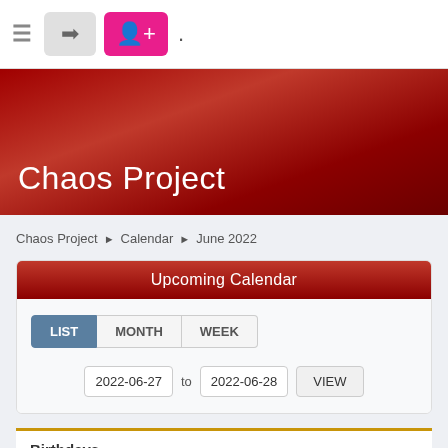≡ [login button] [add user button] .
Chaos Project
Chaos Project ► Calendar ► June 2022
Upcoming Calendar
LIST  MONTH  WEEK
2022-06-27 to 2022-06-28  VIEW
Birthdays
June 27: ZombieBear (35)